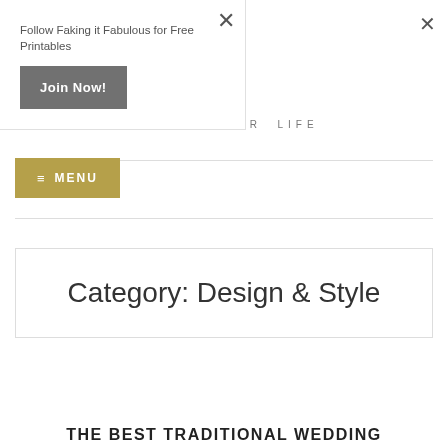Follow Faking it Fabulous for Free Printables
Join Now!
DESIGN YOUR LIFE
≡ MENU
Category: Design & Style
THE BEST TRADITIONAL WEDDING